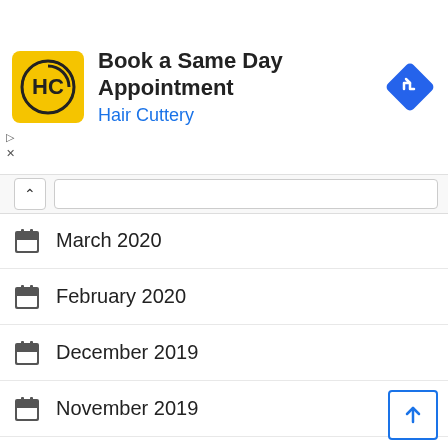[Figure (screenshot): Hair Cuttery advertisement banner with yellow logo, title 'Book a Same Day Appointment', subtitle 'Hair Cuttery' in blue, and a blue navigation diamond icon on the right.]
March 2020
February 2020
December 2019
November 2019
October 2019
September 2019
August 2019
July 2019